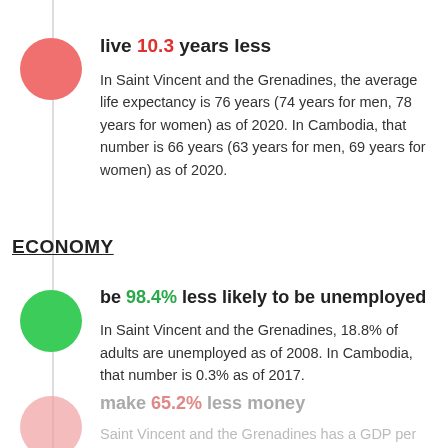live 10.3 years less
In Saint Vincent and the Grenadines, the average life expectancy is 76 years (74 years for men, 78 years for women) as of 2020. In Cambodia, that number is 66 years (63 years for men, 69 years for women) as of 2020.
ECONOMY
be 98.4% less likely to be unemployed
In Saint Vincent and the Grenadines, 18.8% of adults are unemployed as of 2008. In Cambodia, that number is 0.3% as of 2017.
make 65.2% less money
Saint Vincent and the Grenadines has a GDP per